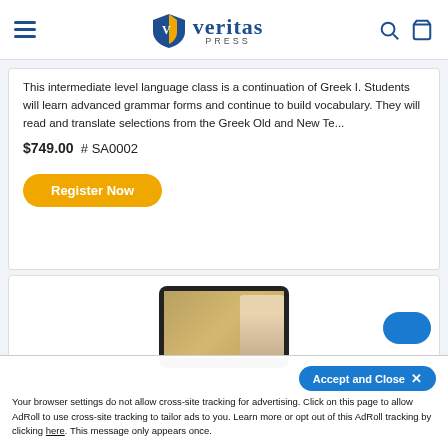Veritas Press
This intermediate level language class is a continuation of Greek I. Students will learn advanced grammar forms and continue to build vocabulary. They will read and translate selections from the Greek Old and New Te...
$749.00  # SA0002
Register Now
[Figure (screenshot): Screenshot of a tablet showing a course video with a person in historical dress and an instructor thumbnail]
Accept and Close ×
Your browser settings do not allow cross-site tracking for advertising. Click on this page to allow AdRoll to use cross-site tracking to tailor ads to you. Learn more or opt out of this AdRoll tracking by clicking here. This message only appears once.